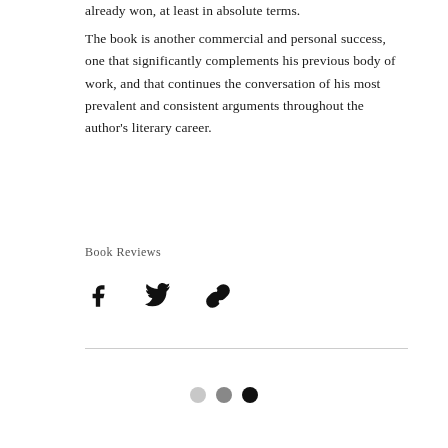already won, at least in absolute terms.
The book is another commercial and personal success, one that significantly complements his previous body of work, and that continues the conversation of his most prevalent and consistent arguments throughout the author's literary career.
Book Reviews
[Figure (other): Social share buttons: Facebook, Twitter, and link/copy icons]
[Figure (other): Pagination dots: three circles (light gray, medium gray, dark/black)]